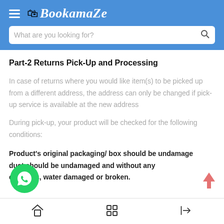BookamaZe — What are you looking for?
Part-2 Returns Pick-Up and Processing
In case of returns where you would like item(s) to be picked up from a different address, the address can only be changed if pick-up service is available at the new address
During pick-up, your product will be checked for the following conditions:
Product's original packaging/ box should be undamage duct should be undamaged and without any es, dents, water damaged or broken.
Home | Grid | Login